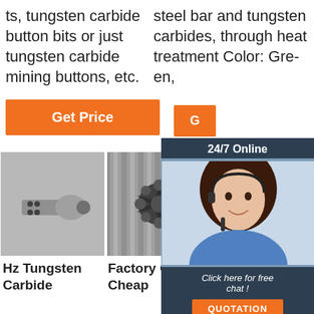ts, tungsten carbide button bits or just tungsten carbide mining buttons, etc.
steel bar and tungsten carbides, through heat treatment Color: Green,
[Figure (other): Orange Get Price button (left column)]
[Figure (other): Orange Get Price button (right column, partially visible)]
[Figure (other): 24/7 Online chat widget overlay with female customer service agent photo, text 'Click here for free chat!' and QUOTATION button]
[Figure (photo): Photo of a tungsten carbide bullet-shaped mining button bit tool]
Hz Tungsten Carbide
[Figure (photo): Photo of a star-shaped tungsten carbide cross bit / button bit]
Factory Offer Cheap
[Figure (photo): Photo of tungsten carbide mining tools with TOP badge overlay]
China Tungsten